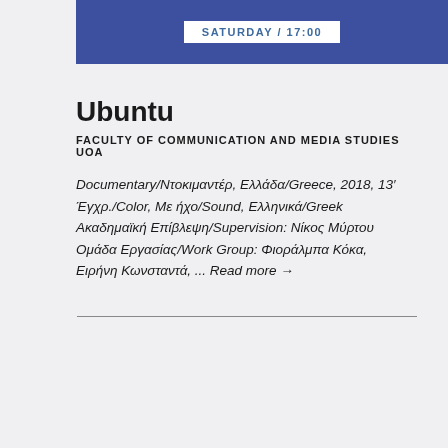SATURDAY / 17:00
Ubuntu
FACULTY OF COMMUNICATION AND MEDIA STUDIES UOA
Documentary/Ντοκιμαντέρ, Ελλάδα/Greece, 2018, 13′ Έγχρ./Color, Με ήχο/Sound, Ελληνικά/Greek Ακαδημαϊκή Επίβλεψη/Supervision: Νίκος Μύρτου Ομάδα Εργασίας/Work Group: Φιοράλμπα Κόκα, Ειρήνη Κωνσταντά, ... Read more →